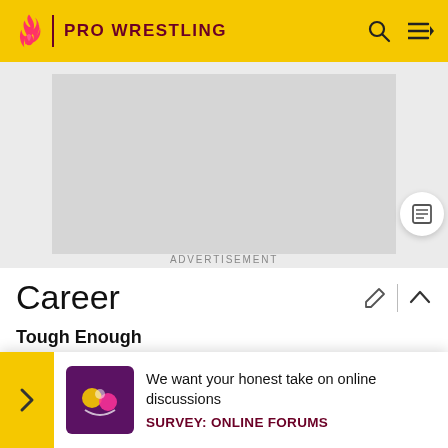PRO WRESTLING
[Figure (other): Advertisement placeholder gray box]
ADVERTISEMENT
Career
Tough Enough
Before getting into professional wrestling, Hennigan attended the University of California at Davis studying both film and geology. Upon deciding that he did not want to pu... wresting... school... tion
We want your honest take on online discussions
SURVEY: ONLINE FORUMS